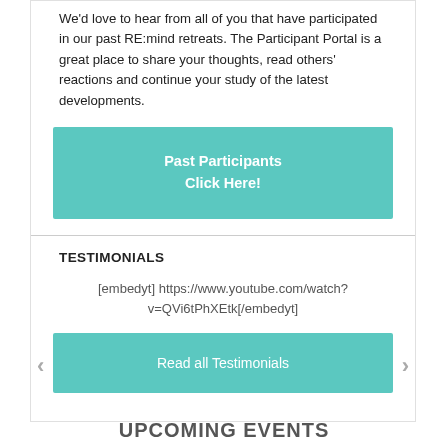We'd love to hear from all of you that have participated in our past RE:mind retreats. The Participant Portal is a great place to share your thoughts, read others' reactions and continue your study of the latest developments.
[Figure (other): Teal call-to-action button reading 'Past Participants Click Here!']
TESTIMONIALS
[embedyt] https://www.youtube.com/watch?v=QVi6tPhXEtk[/embedyt]
[Figure (other): Teal button reading 'Read all Testimonials']
UPCOMING EVENTS